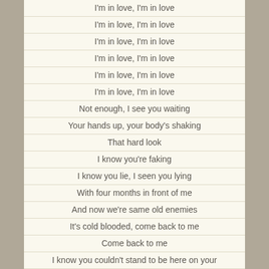I'm in love, I'm in love
I'm in love, I'm in love
I'm in love, I'm in love
I'm in love, I'm in love
I'm in love, I'm in love
I'm in love, I'm in love
Not enough, I see you waiting
Your hands up, your body's shaking
That hard look
I know you're faking
I know you lie, I seen you lying
With four months in front of me
And now we're same old enemies
It's cold blooded, come back to me
Come back to me
I know you couldn't stand to be here on your